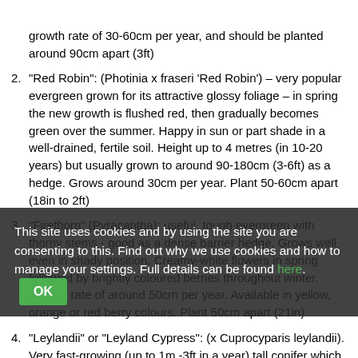growth rate of 30-60cm per year, and should be planted around 90cm apart (3ft)
"Red Robin": (Photinia x fraseri 'Red Robin') – very popular evergreen grown for its attractive glossy foliage – in spring the new growth is flushed red, then gradually becomes green over the summer. Happy in sun or part shade in a well-drained, fertile soil. Height up to 4 metres (in 10-20 years) but usually grown to around 90-180cm (3-6ft) as a hedge. Grows around 30cm per year. Plant 50-60cm apart (18in to 2ft)
"Firethorn" (Pyracantha): useful, tough evergreen with thorny stems - good as a dense barrier hedge. Grows well even in shady position. Creamy-white flowers in spring followed by brightly coloured berries throughout winter. Growth rate of around 50cm per year. Available in yellow, orange or red berry colours. Plant 50cm apart (21in)
"Leylandii" or "Leyland Cypress": (x Cuprocyparis leylandii). Very fast-growing (up to 1m -3ft in a year) tall conifer which ... is too tall ... 60-75cm how ... if kept under control
"Privet" :(Ligustrum ovalifolium) a widely grown semi-
This site uses cookies and by using the site you are consenting to this. Find out why we use cookies and how to manage your settings. Full details can be found here. OK